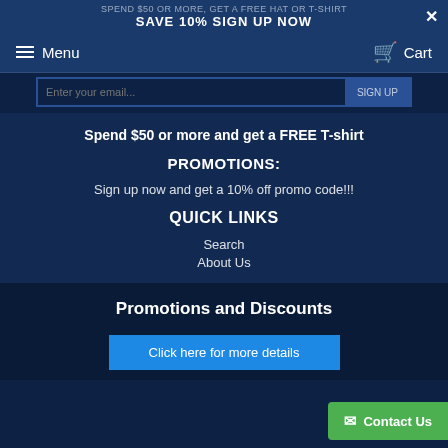SPEND $50 OR MORE, GET A FREE HAT OR T-SHIRT
SAVE 10% SIGN UP NOW
Menu   Cart
Spend $50 or more and get a FREE T-shirt
PROMOTIONS:
Sign up now and get a 10% off promo code!!!
QUICK LINKS
Search
About Us
Promotions and Discounts
Click here for more details